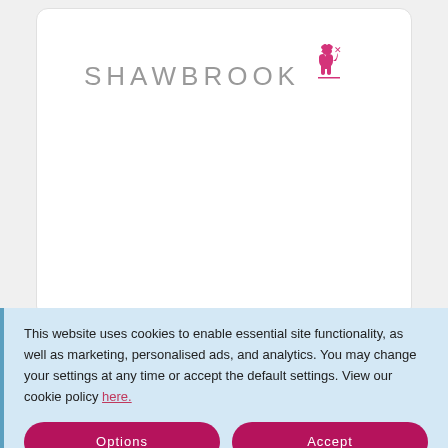[Figure (logo): Shawbrook bank logo — stylized grey uppercase text 'SHAWBROOK' with a pink heraldic lion emblem on the right]
[Figure (logo): AURA logo — bold black uppercase 'AURA' text inside an oval formed by a blue arrow on top and a red arrow on the bottom]
This website uses cookies to enable essential site functionality, as well as marketing, personalised ads, and analytics. You may change your settings at any time or accept the default settings. View our cookie policy here.
Options
Accept